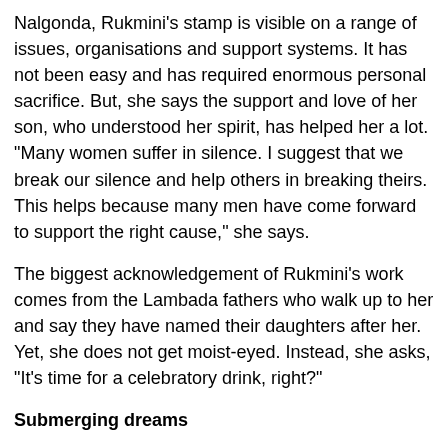Nalgonda, Rukmini's stamp is visible on a range of issues, organisations and support systems. It has not been easy and has required enormous personal sacrifice. But, she says the support and love of her son, who understood her spirit, has helped her a lot. "Many women suffer in silence. I suggest that we break our silence and help others in breaking theirs. This helps because many men have come forward to support the right cause," she says.
The biggest acknowledgement of Rukmini's work comes from the Lambada fathers who walk up to her and say they have named their daughters after her. Yet, she does not get moist-eyed. Instead, she asks, "It's time for a celebratory drink, right?"
Submerging dreams
The Lambada women are known for their silver anklets, heavy mirror-embossed scarves and conch bangles. The silver anklets are believed to drive away snakes. A woman has to be really sturdy to wear so many ornaments while working in the fields. But somewhere in the